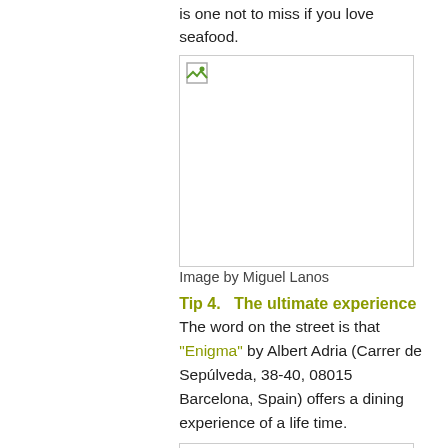is one not to miss if you love seafood.
[Figure (photo): Broken image placeholder for seafood photo]
Image by Miguel Lanos
Tip 4.   The ultimate experience
The word on the street is that “Enigma” by Albert Adria (Carrer de Sepúlveda, 38-40, 08015 Barcelona, Spain) offers a dining experience of a life time.
[Figure (photo): Broken image placeholder below tip 4]